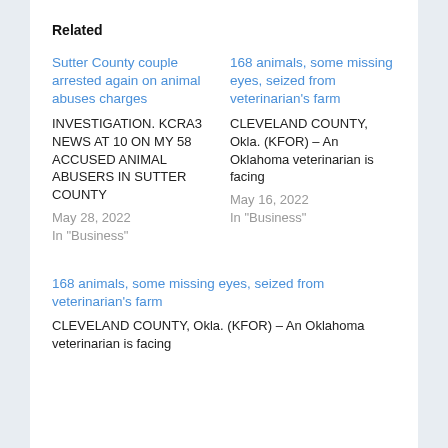Related
Sutter County couple arrested again on animal abuses charges
INVESTIGATION. KCRA3 NEWS AT 10 ON MY 58 ACCUSED ANIMAL ABUSERS IN SUTTER COUNTY
May 28, 2022
In "Business"
168 animals, some missing eyes, seized from veterinarian's farm
CLEVELAND COUNTY, Okla. (KFOR) – An Oklahoma veterinarian is facing
May 16, 2022
In "Business"
168 animals, some missing eyes, seized from veterinarian's farm
CLEVELAND COUNTY, Okla. (KFOR) – An Oklahoma veterinarian is facing